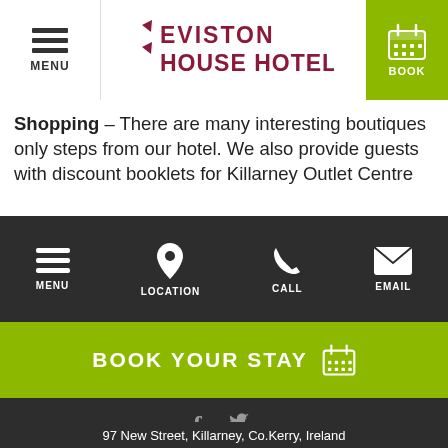[Figure (logo): Eviston House Hotel logo with stylized arrow and hotel name in dark red/maroon text]
Shopping – There are many interesting boutiques only steps from our hotel. We also provide guests with discount booklets for Killarney Outlet Centre
[Figure (infographic): Dark navigation bar with four icons and labels: MENU (hamburger), LOCATION (pin), CALL (phone), EMAIL (envelope)]
[Figure (infographic): Green bar with BOOK YOUR STAY text and calendar icon]
[Figure (infographic): Dark footer with Facebook and Twitter social icons]
97 New Street, Killarney, Co.Kerry, Ireland